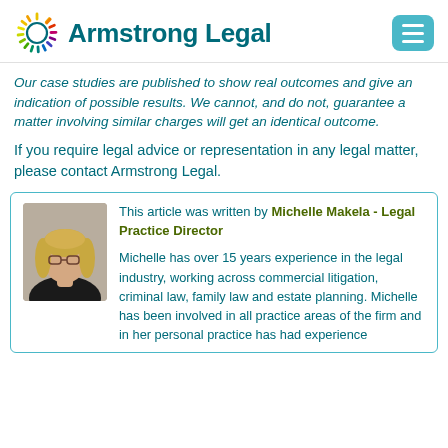Armstrong Legal
Our case studies are published to show real outcomes and give an indication of possible results. We cannot, and do not, guarantee a matter involving similar charges will get an identical outcome.
If you require legal advice or representation in any legal matter, please contact Armstrong Legal.
This article was written by Michelle Makela - Legal Practice Director

Michelle has over 15 years experience in the legal industry, working across commercial litigation, criminal law, family law and estate planning. Michelle has been involved in all practice areas of the firm and in her personal practice has had experience
[Figure (photo): Headshot photo of Michelle Makela, a woman with blonde hair and glasses wearing a dark top]